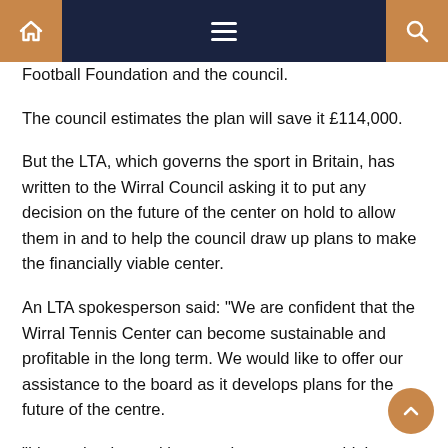Navigation bar with home, menu, and search icons
Football Foundation and the council.
The council estimates the plan will save it £114,000.
But the LTA, which governs the sport in Britain, has written to the Wirral Council asking it to put any decision on the future of the center on hold to allow them in and to help the council draw up plans to make the financially viable center.
An LTA spokesperson said: “We are confident that the Wirral Tennis Center can become sustainable and profitable in the long term. We would like to offer our assistance to the board as it develops plans for the future of the centre.
“I hope that by working together we can avoid the closure of the center and the loss of vital indoor tennis facilities.”